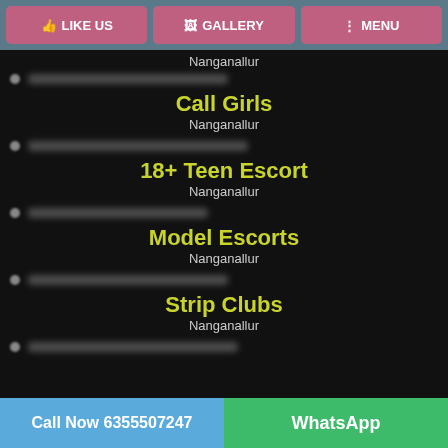LIKE US | GALLERY | MENU
Nanganallur
Call Girls
Nanganallur
18+ Teen Escort
Nanganallur
Model Escorts
Nanganallur
Strip Clubs
Nanganallur
Call Now 6355507247 | WhatsApp